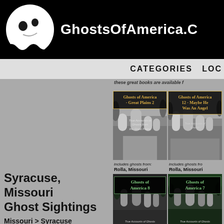[Figure (logo): GhostsOfAmerica.com website header with ghost logo on black background]
GhostsOfAmerica.c
CATEGORIES  LOC
these great books are available f
[Figure (photo): Book cover: Ghosts of America - Great Plains 2, black with gold border, cemetery photo]
[Figure (photo): Book cover: Ghosts of America 12 - Maybe He Was An Angel, black with gold border, cemetery photo]
includes ghosts from:
Rolla, Missouri
includes ghosts fro
Rolla, Missouri
[Figure (photo): Book cover: Ghosts of America 8, black background with green text and cemetery photo]
[Figure (photo): Book cover: Ghosts of America 7, dark green background with green text and cemetery photo]
Syracuse, Missouri Ghost Sightings
Missouri > Syracuse